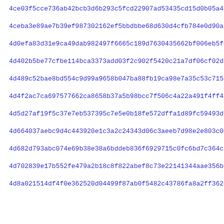4ce03f5cce736ab42bcb3d6b293c5fcd22907ad53435cd15d0b05a4110413
4ceba3e89ae7b39ef987302162ef5bbdbbe68d630d4cfb784e0d90a255a7c
4d0efa83d31e9ca49dab982497f6665c189d7630435662bf006eb5fe02ea5
4d402b5be77cfbe114bca3373add03f2c902f5420c21a7df06cf02d768639
4d489c52bae8bd554c9d99a9658b047ba88fb19ca98e7a35c53c71532496a
4d4f2ac7ca697577662ca8658b37a5b98bcc7f506c4a22a491f4ff484e953
4d5d27af19f5c37e7eb537395c7e5e0b18fe572dffa1d89fc59493d944271
4d664037aebc9d4c443920e1c3a2c24343d06c3aeeb7d98e2e803c0c3c1ef
4d682d793abc074e69b38e38a6bddeb836f6929715c0fc6bd7c364c597479
4d702839e17b552fe479a2b18c8f822abef8c73e22141344aae356beae83a
4d8a021514df4f0e362520d04499f87ab0f5482c43786fa8a2ff3620aa802